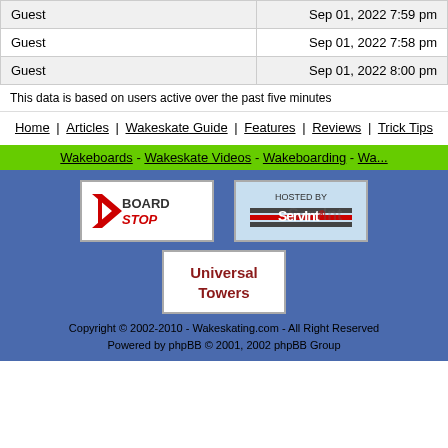| User | Time |
| --- | --- |
| Guest | Sep 01, 2022 7:59 pm |
| Guest | Sep 01, 2022 7:58 pm |
| Guest | Sep 01, 2022 8:00 pm |
This data is based on users active over the past five minutes
Home | Articles | Wakeskate Guide | Features | Reviews | Trick Tips
Wakeboards - Wakeskate Videos - Wakeboarding - Wa...
[Figure (logo): BoardStop logo]
[Figure (logo): Hosted by ServInt logo]
[Figure (logo): Universal Towers logo]
Copyright © 2002-2010 - Wakeskating.com - All Right Reserved
Powered by phpBB © 2001, 2002 phpBB Group